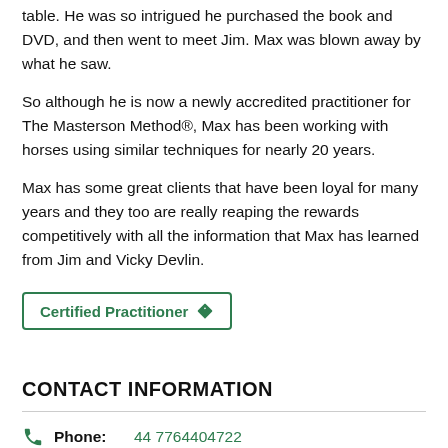table. He was so intrigued he purchased the book and DVD, and then went to meet Jim. Max was blown away by what he saw.
So although he is now a newly accredited practitioner for The Masterson Method®, Max has been working with horses using similar techniques for nearly 20 years.
Max has some great clients that have been loyal for many years and they too are really reaping the rewards competitively with all the information that Max has learned from Jim and Vicky Devlin.
Certified Practitioner
CONTACT INFORMATION
Phone: 44 7764404722